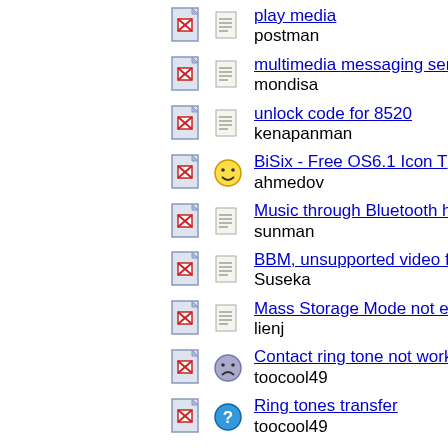play media
postman
multimedia messaging serv...
mondisa
unlock code for 8520
kenapanman
BiSix - Free OS6.1 Icon T...
ahmedov
Music through Bluetooth h...
sunman
BBM, unsupported video f...
Suseka
Mass Storage Mode not en...
lienj
Contact ring tone not work...
toocool49
Ring tones transfer
toocool49